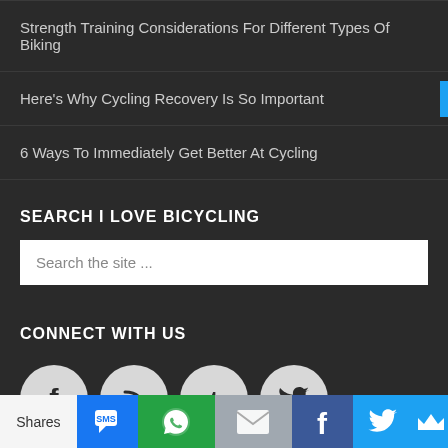Strength Training Considerations For Different Types Of Biking
Here's Why Cycling Recovery Is So Important
6 Ways To Immediately Get Better At Cycling
SEARCH I LOVE BICYCLING
Search the site ...
CONNECT WITH US
[Figure (infographic): Four social media icon circles: Facebook, RSS, Tumblr, Twitter]
Shares | SMS | WhatsApp | Email | Facebook | Twitter | Sumo